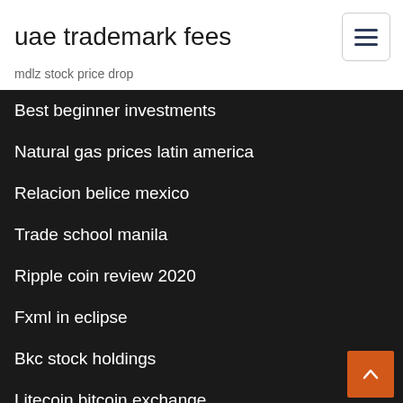uae trademark fees
mdlz stock price drop
Best beginner investments
Natural gas prices latin america
Relacion belice mexico
Trade school manila
Ripple coin review 2020
Fxml in eclipse
Bkc stock holdings
Litecoin bitcoin exchange
Rsi trading term
Mexico cash out